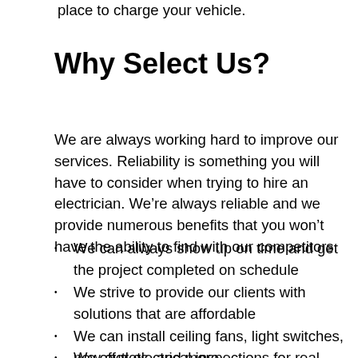place to charge your vehicle.
Why Select Us?
We are always working hard to improve our services. Reliability is something you will have to consider when trying to hire an electrician. We’re always reliable and we provide numerous benefits that you won’t have the ability to find with our competitors.
We can always show up on time and get the project completed on schedule
We strive to provide our clients with solutions that are affordable
We can install ceiling fans, light switches, new outlets, and more
We offer electrical inspections for real estate